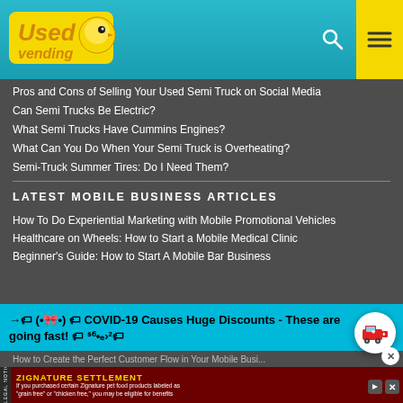Used Vending — website header with logo, search icon, and menu icon
Pros and Cons of Selling Your Used Semi Truck on Social Media
Can Semi Trucks Be Electric?
What Semi Trucks Have Cummins Engines?
What Can You Do When Your Semi Truck is Overheating?
Semi-Truck Summer Tires: Do I Need Them?
LATEST MOBILE BUSINESS ARTICLES
How To Do Experiential Marketing with Mobile Promotional Vehicles
Healthcare on Wheels: How to Start a Mobile Medical Clinic
Beginner's Guide: How to Start A Mobile Bar Business
→🏷 (•🎀•) 🏷 COVID-19 Causes Huge Discounts - These are going fast! 🏷 ˢ⁶•ₑ›²🏷
How to Create the Perfect Customer Flow in Your Mobile Business
ZIGNATURE SETTLEMENT — If you purchased certain Zignature pet food products labeled as "grain free" or "chicken free," you may be eligible for benefits